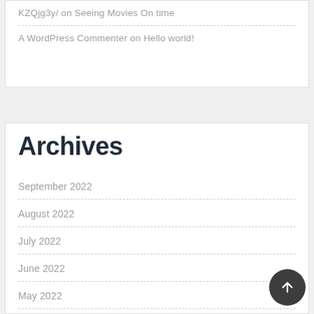KZQjg3y/ on Seeing Movies On time
A WordPress Commenter on Hello world!
Archives
September 2022
August 2022
July 2022
June 2022
May 2022
April 2022